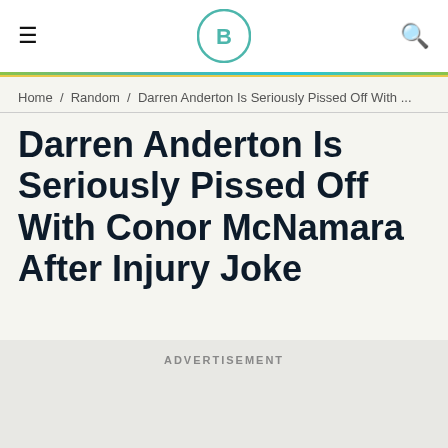BALLS.IE logo with hamburger menu and search icon
Home / Random / Darren Anderton Is Seriously Pissed Off With ...
Darren Anderton Is Seriously Pissed Off With Conor McNamara After Injury Joke
ADVERTISEMENT